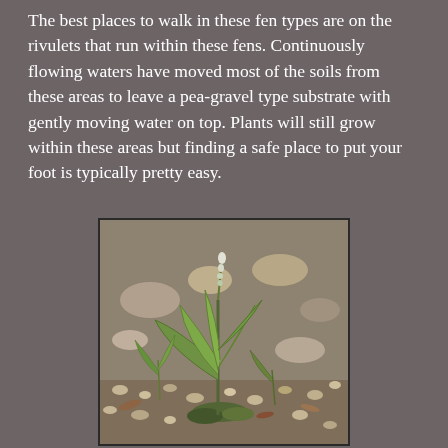The best places to walk in these fen types are on the rivulets that run within these fens. Continuously flowing waters have moved most of the soils from these areas to leave a pea-gravel type substrate with gently moving water on top. Plants will still grow within these areas but finding a safe place to put your foot is typically pretty easy.
[Figure (photo): A green plant with broad leaves and a small white flower spike growing from rocky/gravelly ground with moss at its base, surrounded by pebbles and leaf litter in a fen habitat.]